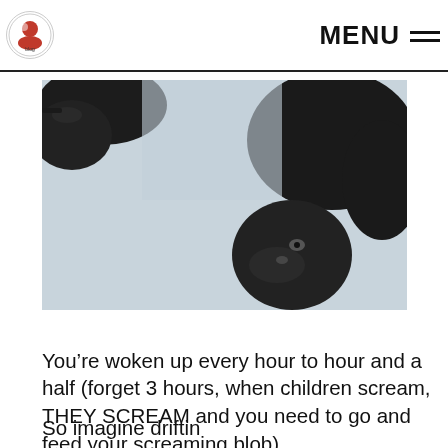MENU
[Figure (photo): Close-up photo of a dark-furred animal (likely a sloth or bear) against a pale blue-grey background, seen from below/side angle.]
You’re woken up every hour to hour and a half (forget 3 hours, when children scream, THEY SCREAM and you need to go and feed your screaming blob).
So imagine driftin into that REM cyc rest and then bei present and go a hopefully not dro need to hold the babe or hold them to you